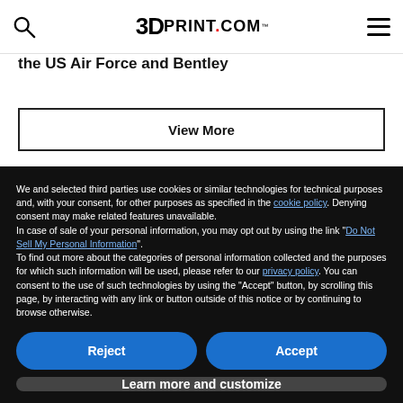3DPrint.com
the US Air Force and Bentley
View More
We and selected third parties use cookies or similar technologies for technical purposes and, with your consent, for other purposes as specified in the cookie policy. Denying consent may make related features unavailable. In case of sale of your personal information, you may opt out by using the link "Do Not Sell My Personal Information". To find out more about the categories of personal information collected and the purposes for which such information will be used, please refer to our privacy policy. You can consent to the use of such technologies by using the "Accept" button, by scrolling this page, by interacting with any link or button outside of this notice or by continuing to browse otherwise.
Reject
Accept
Learn more and customize